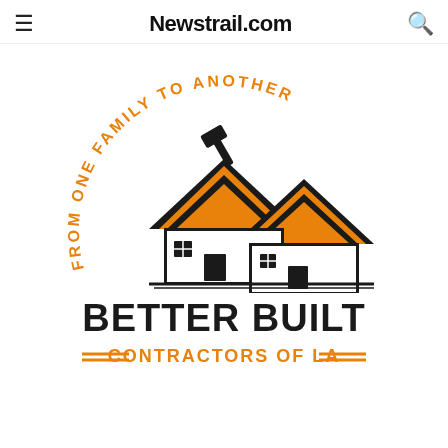Newstrail.com
[Figure (logo): Better Built Contractors of LA logo. Features two house silhouettes with orange roofs and a hammer, with curved orange text reading FROM ONE FAMILY TO ANOTHER above. Large bold black text reads BETTER BUILT, with orange text below reading CONTRACTORS OF LA flanked by double horizontal lines.]